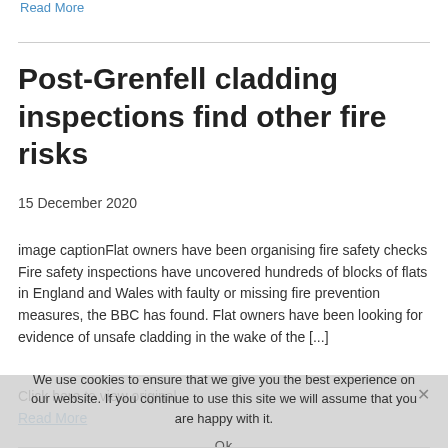Read More
Post-Grenfell cladding inspections find other fire risks
15 December 2020
image captionFlat owners have been organising fire safety checks Fire safety inspections have uncovered hundreds of blocks of flats in England and Wales with faulty or missing fire prevention measures, the BBC has found. Flat owners have been looking for evidence of unsafe cladding in the wake of the [...]
Click here to view original...
Read More